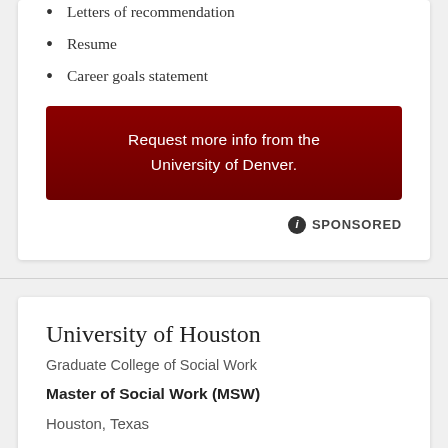Letters of recommendation
Resume
Career goals statement
Request more info from the University of Denver.
ⓘ SPONSORED
University of Houston
Graduate College of Social Work
Master of Social Work (MSW)
Houston, Texas